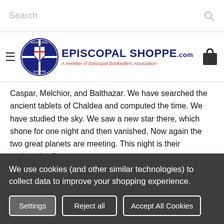Search
[Figure (logo): Episcopal Shoppe logo with circular shield emblem, text 'EPISCOPAL SHOPPE.com', subtitle 'A member of Episcopal Booksellers Association']
Caspar, Melchior, and Balthazar. We have searched the ancient tablets of Chaldea and computed the time. We have studied the sky. We saw a new star there, which shone for one night and then vanished. Now again the two great planets are meeting. This night is their conjunction."
Try as he might, Artaban was unable to join the three Magi on that historic night. But as it turns out, he had even more important things to do—and he learned what it really means to
We use cookies (and other similar technologies) to collect data to improve your shopping experience.